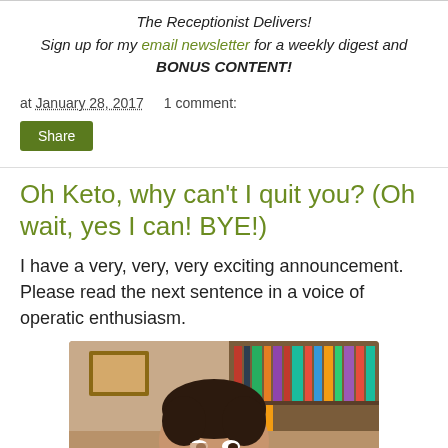The Receptionist Delivers!
Sign up for my email newsletter for a weekly digest and BONUS CONTENT!
at January 28, 2017   1 comment:
Share
Oh Keto, why can't I quit you? (Oh wait, yes I can! BYE!)
I have a very, very, very exciting announcement. Please read the next sentence in a voice of operatic enthusiasm.
[Figure (photo): Person holding a baguette in front of their face, with bookshelves in the background]